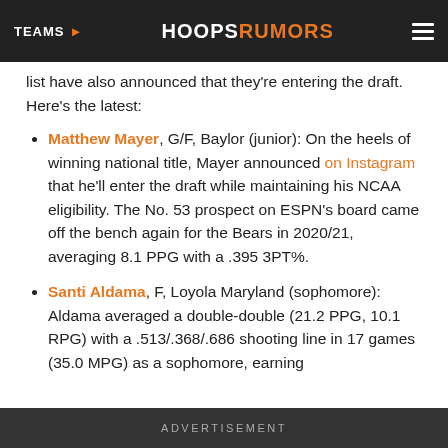TEAMS ▶  HOOPSRUMORS  ☰
list have also announced that they're entering the draft. Here's the latest:
Matthew Mayer, G/F, Baylor (junior): On the heels of winning national title, Mayer announced on Instagram that he'll enter the draft while maintaining his NCAA eligibility. The No. 53 prospect on ESPN's board came off the bench again for the Bears in 2020/21, averaging 8.1 PPG with a .395 3PT%.
Santi Aldama, F, Loyola Maryland (sophomore): Aldama averaged a double-double (21.2 PPG, 10.1 RPG) with a .513/.368/.686 shooting line in 17 games (35.0 MPG) as a sophomore, earning
ADVERTISEMENT